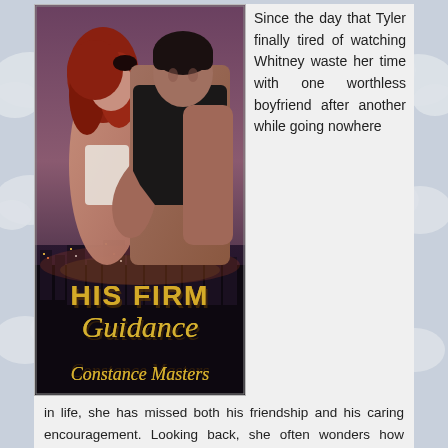[Figure (illustration): Book cover for 'His Firm Guidance' by Constance Masters. Shows a man and woman in an intimate pose against a Las Vegas cityscape background. Title text in gold letters.]
Since the day that Tyler finally tired of watching Whitney waste her time with one worthless boyfriend after another while going nowhere in life, she has missed both his friendship and his caring encouragement. Looking back, she often wonders how things might have been different if he had actually spanked her as he once threatened.
Then, after yet another boyfriend-related